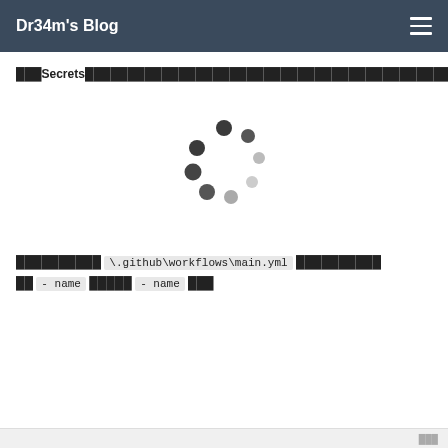Dr34m's Blog
███Secrets████████████████████████████████████████
[Figure (other): A loading spinner graphic showing 8 dots arranged in a circular pattern, with dots ranging from dark gray to light gray indicating rotation/loading state.]
██████████ \.github\workflows\main.yml ██████████ ██ - name █████ - name ███